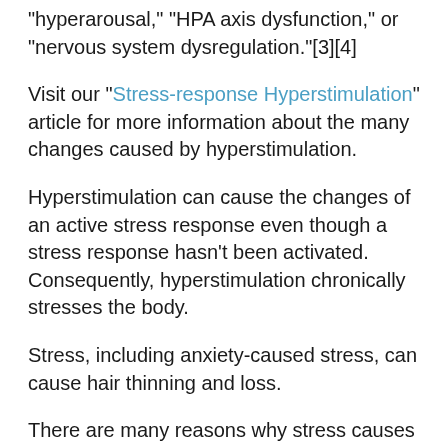“hyperarousal,” “HPA axis dysfunction,” or “nervous system dysregulation.”[3][4]
Visit our “Stress-response Hyperstimulation” article for more information about the many changes caused by hyperstimulation.
Hyperstimulation can cause the changes of an active stress response even though a stress response hasn’t been activated. Consequently, hyperstimulation chronically stresses the body.
Stress, including anxiety-caused stress, can cause hair thinning and loss.
There are many reasons why stress causes hair thinning and hair loss, including: